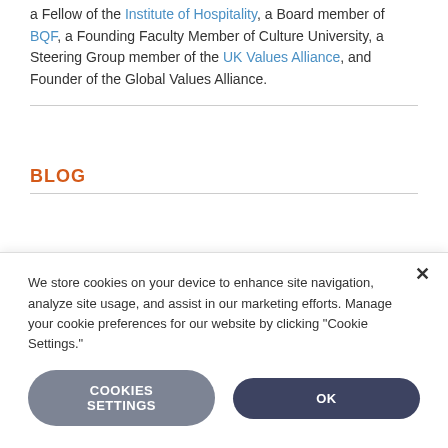a Fellow of the Institute of Hospitality, a Board member of BQF, a Founding Faculty Member of Culture University, a Steering Group member of the UK Values Alliance, and Founder of the Global Values Alliance.
BLOG
We store cookies on your device to enhance site navigation, analyze site usage, and assist in our marketing efforts. Manage your cookie preferences for our website by clicking "Cookie Settings."